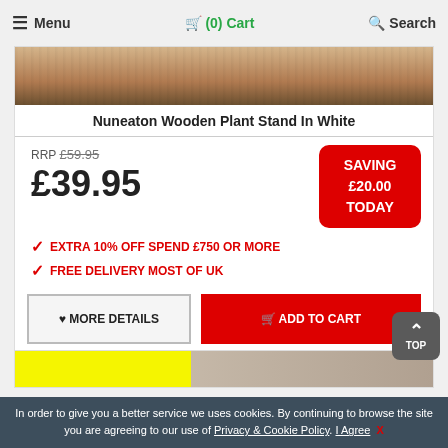≡ Menu  🛒 (0) Cart  🔍 Search
[Figure (photo): Partial view of Nuneaton Wooden Plant Stand showing wood texture at top]
Nuneaton Wooden Plant Stand In White
RRP £59.95
£39.95
SAVING £20.00 TODAY
✓ EXTRA 10% OFF SPEND £750 OR MORE
✓ FREE DELIVERY MOST OF UK
♥ MORE DETAILS   🛒 ADD TO CART
[Figure (screenshot): Partial view of next product card with yellow price strip]
In order to give you a better service we uses cookies. By continuing to browse the site you are agreeing to our use of Privacy & Cookie Policy. I Agree  X